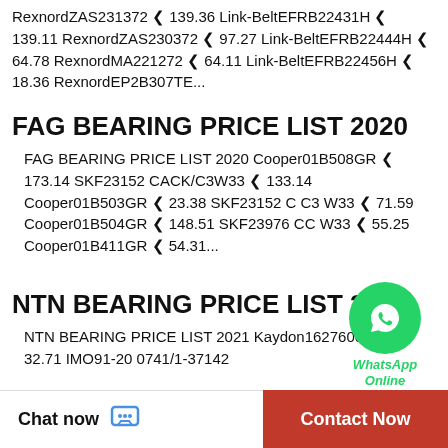RexnordZAS231372 ❮ 139.36 Link-BeltEFRB22431H ❮ 139.11 RexnordZAS230372 ❮ 97.27 Link-BeltEFRB22444H ❮ 64.78 RexnordMA221272 ❮ 64.11 Link-BeltEFRB22456H ❮ 18.36 RexnordEP2B307TE...
FAG BEARING PRICE LIST 2020
FAG BEARING PRICE LIST 2020 Cooper01B508GR ❮ 173.14 SKF23152 CACK/C3W33 ❮ 133.14 Cooper01B503GR ❮ 23.38 SKF23152 C C3 W33 ❮ 71.59 Cooper01B504GR ❮ 148.51 SKF23976 CC W33 ❮ 55.25 Cooper01B411GR ❮ 54.31...
[Figure (illustration): WhatsApp Online chat bubble icon with green circle and WhatsApp logo, with italic bold text 'WhatsApp Online' in green]
NTN BEARING PRICE LIST 2021
NTN BEARING PRICE LIST 2021 Kaydon16276001 ❮ 32.71 IMO91-20 0741/1-37142
Chat now   Contact Now